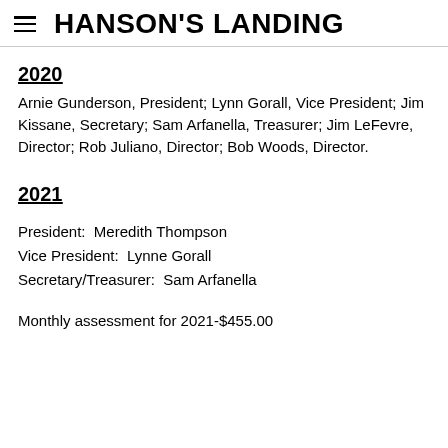HANSON'S LANDING
2020
Arnie Gunderson, President; Lynn Gorall, Vice President; Jim Kissane, Secretary; Sam Arfanella, Treasurer; Jim LeFevre, Director; Rob Juliano, Director; Bob Woods, Director.
2021
President:  Meredith Thompson
Vice President:  Lynne Gorall
Secretary/Treasurer:  Sam Arfanella
Monthly assessment for 2021-$455.00